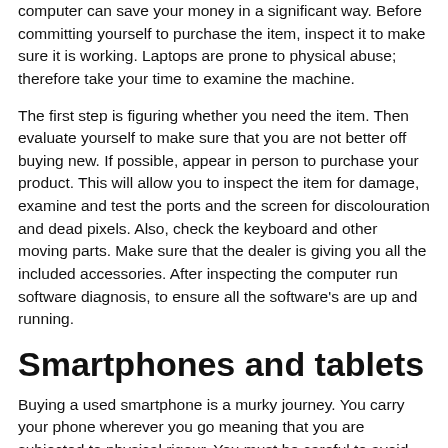computer can save your money in a significant way. Before committing yourself to purchase the item, inspect it to make sure it is working. Laptops are prone to physical abuse; therefore take your time to examine the machine.
The first step is figuring whether you need the item. Then evaluate yourself to make sure that you are not better off buying new. If possible, appear in person to purchase your product. This will allow you to inspect the item for damage, examine and test the ports and the screen for discolouration and dead pixels. Also, check the keyboard and other moving parts. Make sure that the dealer is giving you all the included accessories. After inspecting the computer run software diagnosis, to ensure all the software’s are up and running.
Smartphones and tablets
Buying a used smartphone is a murky journey. You carry your phone wherever you go meaning that you are subjected to physical rigour. You must be careful to avoid falling in a trap of buying a stolen phone. Unfortunately, if you fall in the trap of purchasing a stolen phone, you will be charged with handling stolen items.